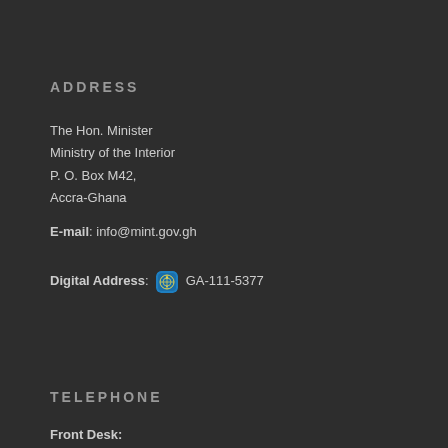ADDRESS
The Hon. Minister
Ministry of the Interior
P. O. Box M42,
Accra-Ghana
E-mail: info@mint.gov.gh
Digital Address: GA-111-5377
TELEPHONE
Front Desk: